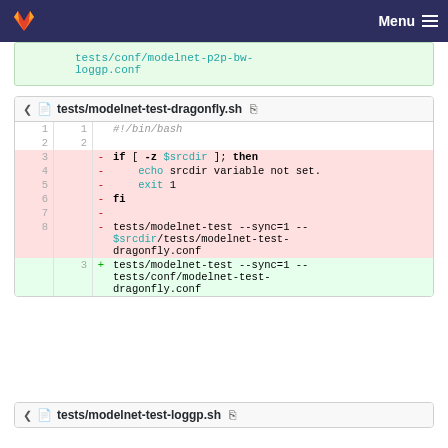GitLab — Menu
tests/conf/modelnet-p2p-bw-loggp.conf
tests/modelnet-test-dragonfly.sh
[Figure (screenshot): Diff view of tests/modelnet-test-dragonfly.sh showing deleted lines (red): if [ -z $srcdir ]; then, echo srcdir variable not set., exit 1, fi, and tests/modelnet-test --sync=1 --$srcdir/tests/modelnet-test-dragonfly.conf. Added line (green): tests/modelnet-test --sync=1 --tests/conf/modelnet-test-dragonfly.conf]
tests/modelnet-test-loggp.sh